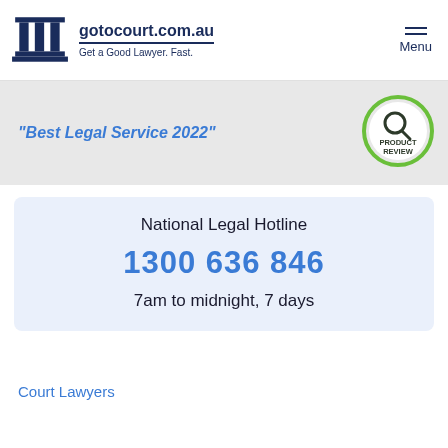[Figure (logo): gotocourt.com.au logo with court building icon and tagline 'Get a Good Lawyer. Fast.']
Menu
"Best Legal Service 2022"
[Figure (logo): Product Review badge - circular green and white badge with magnifying glass icon]
National Legal Hotline
1300 636 846
7am to midnight, 7 days
Court Lawyers